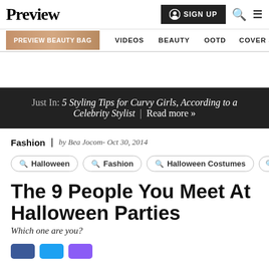Preview | SIGN UP | Search | Menu
PREVIEW BEAUTY BAG | VIDEOS | BEAUTY | OOTD | COVER STORIES
Just In: 5 Styling Tips for Curvy Girls, According to a Celebrity Stylist | Read more »
Fashion | by Bea Jocom - Oct 30, 2014
Halloween | Fashion | Halloween Costumes
The 9 People You Meet At Halloween Parties
Which one are you?